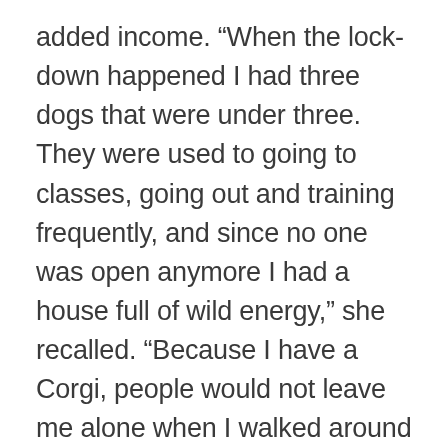added income. “When the lock-down happened I had three dogs that were under three. They were used to going to classes, going out and training frequently, and since no one was open anymore I had a house full of wild energy,” she recalled. “Because I have a Corgi, people would not leave me alone when I walked around a local school or in a park. People see them and almost just cry, like ‘Oh my God, it’s a Corgi!’ They just love them. So I had to figure out another way to get them out. One of my agility acquaintances who I like and